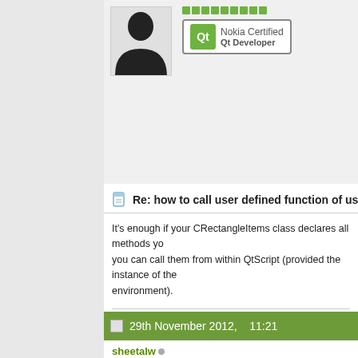[Figure (illustration): Nokia Certified Qt Developer badge with Qt logo in green, next to a user avatar silhouette]
Re: how to call user defined function of user defined call from
It's enough if your CRectangleItems class declares all methods you can call them from within QtScript (provided the instance of the environment).
Your biological and technological distinctiveness will be added to o
Please ask Qt related questions on the forum and not using private
wwWidgets
29th November 2012,    11:21
sheetalw